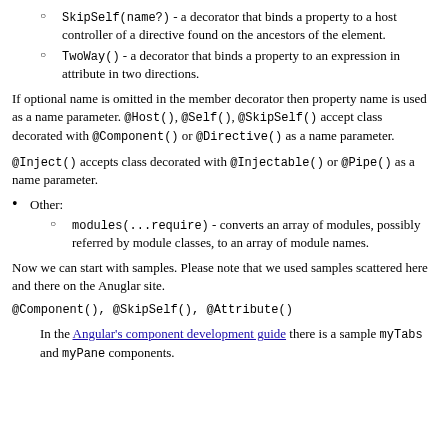SkipSelf(name?) - a decorator that binds a property to a host controller of a directive found on the ancestors of the element.
TwoWay() - a decorator that binds a property to an expression in attribute in two directions.
If optional name is omitted in the member decorator then property name is used as a name parameter. @Host(), @Self(), @SkipSelf() accept class decorated with @Component() or @Directive() as a name parameter.
@Inject() accepts class decorated with @Injectable() or @Pipe() as a name parameter.
Other:
modules(...require) - converts an array of modules, possibly referred by module classes, to an array of module names.
Now we can start with samples. Please note that we used samples scattered here and there on the Anuglar site.
@Component(), @SkipSelf(), @Attribute()
In the Angular's component development guide there is a sample myTabs and myPane components.